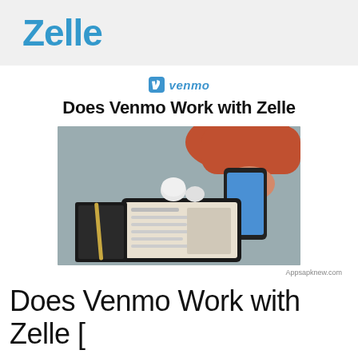Zelle
Does Venmo Work with Zelle
[Figure (photo): Overhead view of a person in a red sweater holding a smartphone with a blue payment app screen, next to a tablet, cups, and a notebook on a grey table.]
Appsapknew.com
Does Venmo Work with Zelle [